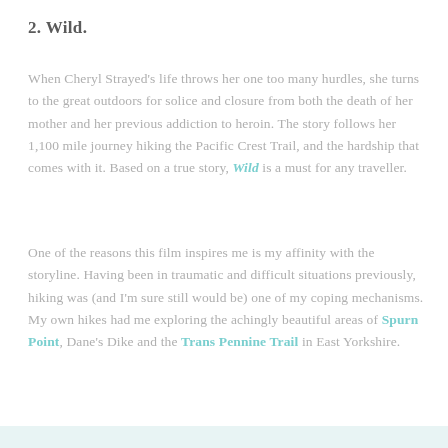2. Wild.
When Cheryl Strayed's life throws her one too many hurdles, she turns to the great outdoors for solice and closure from both the death of her mother and her previous addiction to heroin. The story follows her 1,100 mile journey hiking the Pacific Crest Trail, and the hardship that comes with it. Based on a true story, Wild is a must for any traveller.
One of the reasons this film inspires me is my affinity with the storyline. Having been in traumatic and difficult situations previously, hiking was (and I'm sure still would be) one of my coping mechanisms. My own hikes had me exploring the achingly beautiful areas of Spurn Point, Dane's Dike and the Trans Pennine Trail in East Yorkshire.